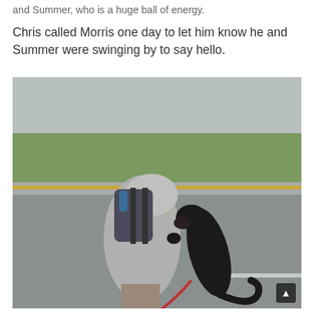and Summer, who is a huge ball of energy.
Chris called Morris one day to let him know he and Summer were swinging by to say hello.
[Figure (photo): A person wearing a grey hoodie and carrying a large backpack bends forward while a black dog on a leash stands up on its hind legs against them, in what appears to be a parking lot or road setting. Green vegetation and a concrete curb are visible in the background.]